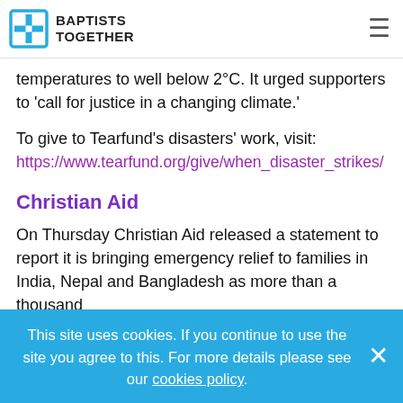BAPTISTS TOGETHER
temperatures to well below 2°C. It urged supporters to 'call for justice in a changing climate.'
To give to Tearfund's disasters' work, visit:
https://www.tearfund.org/give/when_disaster_strikes/
Christian Aid
On Thursday Christian Aid released a statement to report it is bringing emergency relief to families in India, Nepal and Bangladesh as more than a thousand
This site uses cookies. If you continue to use the site you agree to this. For more details please see our cookies policy.